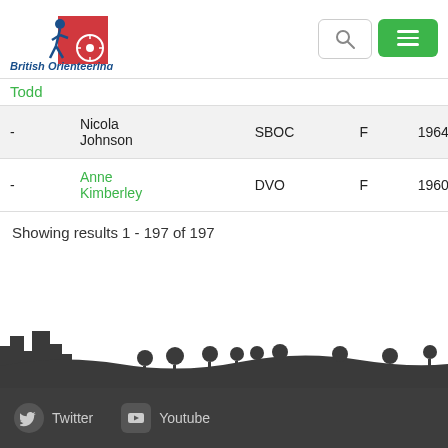British Orienteering
Todd
| - | Name | Club | Sex | Year | Time |
| --- | --- | --- | --- | --- | --- |
| - | Nicola Johnson | SBOC | F | 1964 | 01:37:5 |
| - | Anne Kimberley | DVO | F | 1960 | 01:38:3 |
Showing results 1 - 197 of 197
[Figure (illustration): City/town and trees skyline silhouette in dark grey]
Twitter  Youtube